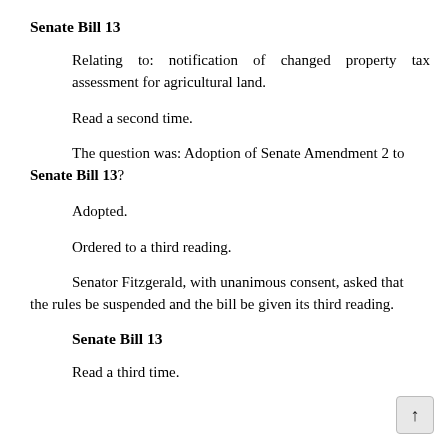Senate Bill 13
Relating to: notification of changed property tax assessment for agricultural land.
Read a second time.
The question was: Adoption of Senate Amendment 2 to Senate Bill 13?
Adopted.
Ordered to a third reading.
Senator Fitzgerald, with unanimous consent, asked that the rules be suspended and the bill be given its third reading.
Senate Bill 13
Read a third time.